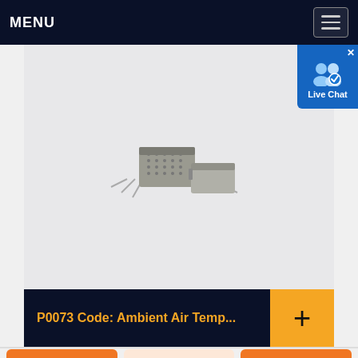MENU
[Figure (photo): Two small electronic temperature/humidity sensor components (gray rectangular plastic housings with metal pins) on a light gray background.]
P0073 Code: Ambient Air Temp...
+ (plus/add button)
Get a Quote | WhatsApp | Chat Now